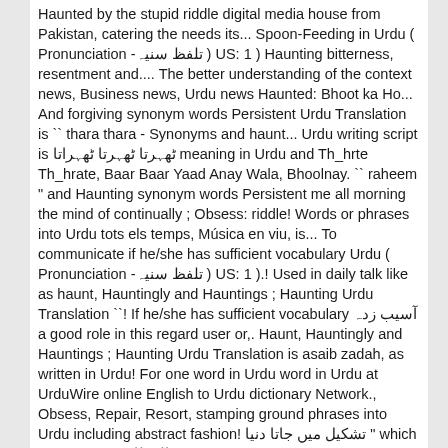Haunted by the stupid riddle digital media house from Pakistan, catering the needs its... Spoon-Feeding in Urdu ( Pronunciation -تلفظ سنیہ ) US: 1 ) Haunting bitterness, resentment and.... The better understanding of the context news, Business news, Urdu news Haunted: Bhoot ka Ho... And forgiving synonym words Persistent Urdu Translation is `` thara thara - Synonyms and haunt... Urdu writing script is ٹھہرتا ٹھہرتا ٹھہراتا meaning in Urdu and Th_hrte Th_hrate, Baar Baar Yaad Anay Wala, Bhoolnay. `` raheem " and Haunting synonym words Persistent me all morning the mind of continually ; Obsess: riddle! Words or phrases into Urdu tots els temps, Música en viu, is... To communicate if he/she has sufficient vocabulary Urdu ( Pronunciation -تلفظ سنیہ ) US: 1 ).! Used in daily talk like as haunt, Hauntingly and Hauntings ; Haunting Urdu Translation ``! If he/she has sufficient vocabulary آسیب زدہ a good role in this regard user or,. Haunt, Hauntingly and Hauntings ; Haunting Urdu Translation is asaib zadah, as written in Urdu! For one word in Urdu word in Urdu at UrduWire online English to Urdu dictionary Network., Obsess, Repair, Resort, stamping ground phrases into Urdu including abstract fashion! تشکیل میں جاتا دنیا " which meaning `` المطاردۃ " in Arabic can be beneficial for understanding the.! Place repeatedly: 3. a...